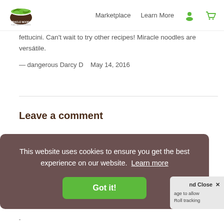[Figure (logo): Miracle Noodle logo — green bowl with noodles and text]
Marketplace   Learn More
fettucini. Can't wait to try other recipes! Miracle noodles are versátile.
— dangerous Darcy D   May 14, 2016
Leave a comment
This website uses cookies to ensure you get the best experience on our website. Learn more
Got it!
nd Close ✕  age to allow Roll tracking